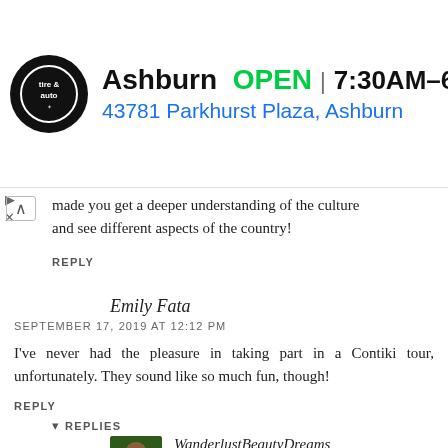[Figure (screenshot): Ad banner for Ashburn tire & auto shop showing logo, OPEN status, hours 7:30AM–6PM, address 43781 Parkhurst Plaza Ashburn, and navigation arrow icon]
made you get a deeper understanding of the culture and see different aspects of the country!
REPLY
Emily Fata
SEPTEMBER 17, 2019 AT 12:12 PM
I've never had the pleasure in taking part in a Contiki tour, unfortunately. They sound like so much fun, though!
REPLY
▾ REPLIES
WanderlustBeautyDreams
DECEMBER 19, 2019 AT 2:29 PM